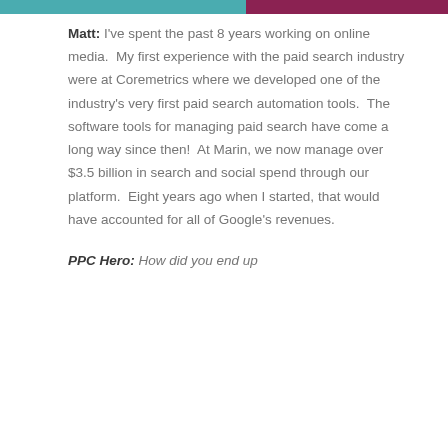Matt: I've spent the past 8 years working on online media.  My first experience with the paid search industry were at Coremetrics where we developed one of the industry's very first paid search automation tools.  The software tools for managing paid search have come a long way since then!  At Marin, we now manage over $3.5 billion in search and social spend through our platform.  Eight years ago when I started, that would have accounted for all of Google's revenues.
PPC Hero: How did you end up